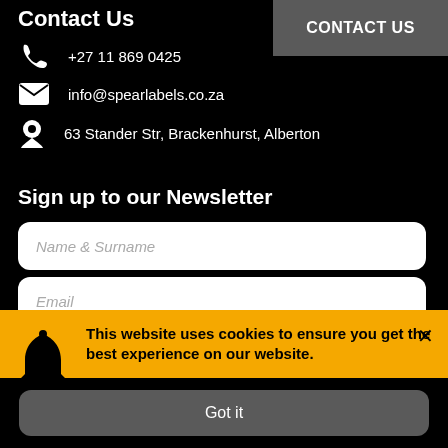Contact Us
+27 11 869 0425
info@spearlabels.co.za
63 Stander Str, Brackenhurst, Alberton
CONTACT US
Sign up to our Newsletter
Name & Surname
Email
Subscribe
This website uses cookies to ensure you get the best experience on our website.
Got it